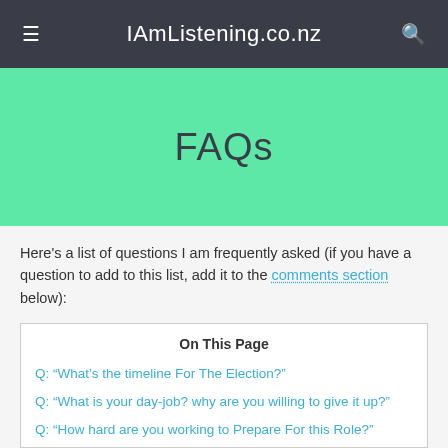IAmListening.co.nz
FAQs
Here's a list of questions I am frequently asked (if you have a question to add to this list, add it to the comments section below):
On This Page
Q: "What's the timeline For The Election?"
Q: "What is your day-job? why are you willing to give it up?"
Q: "How hard are you working to Prepare For this Role?"